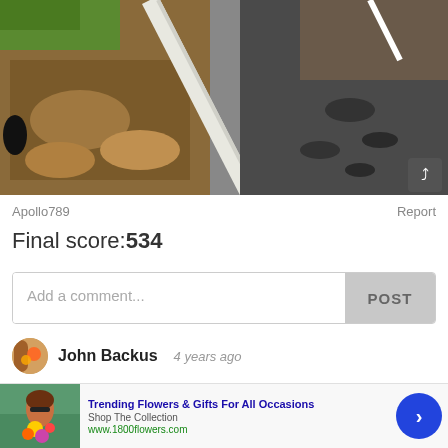[Figure (photo): Outdoor photo showing a curb/kerb separating a dirt/grass area (left) with fallen leaves and a dark asphalt road surface (right). A share icon button is visible in the bottom-right corner of the image.]
Apollo789    Report
Final score:534
[Figure (screenshot): Comment input box with placeholder text 'Add a comment...' and a POST button on the right side.]
John Backus  4 years ago
[Figure (screenshot): Advertisement banner for 1800flowers.com showing a woman with flowers, text 'Trending Flowers & Gifts For All Occasions', 'Shop The Collection', 'www.1800flowers.com', a close button (x), an AdChoices icon, and a blue circular arrow/next button.]